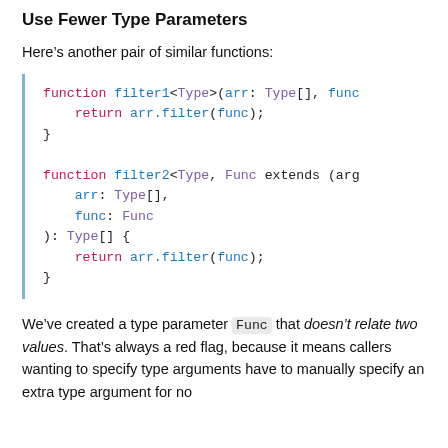Use Fewer Type Parameters
Here’s another pair of similar functions:
function filter1<Type>(arr: Type[], func
    return arr.filter(func);
}

function filter2<Type, Func extends (arg
    arr: Type[],
    func: Func
): Type[] {
    return arr.filter(func);
}
We’ve created a type parameter Func that doesn’t relate two values. That’s always a red flag, because it means callers wanting to specify type arguments have to manually specify an extra type argument for no